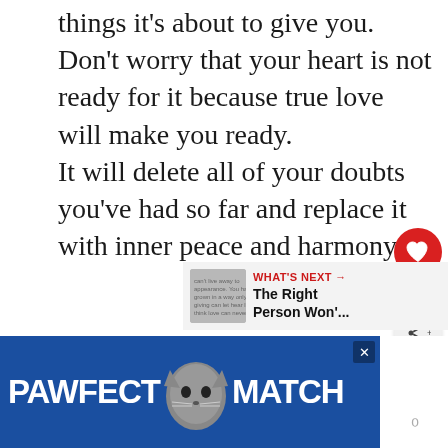things it's about to give you. Don't worry that your heart is not ready for it because true love will make you ready. It will delete all of your doubts you've had so far and replace it with inner peace and harmony.
[Figure (screenshot): Social media UI element: red circular heart/like button, count '27', and a share button (circle with share icon)]
[Figure (screenshot): What's Next panel showing a thumbnail and text 'The Right Person Won'...']
[Figure (screenshot): Advertisement banner for 'PAWFECT MATCH' with a cat image on a blue background]